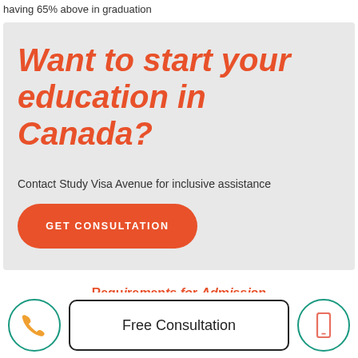having 65% above in graduation
Want to start your education in Canada?
Contact Study Visa Avenue for inclusive assistance
GET CONSULTATION
Free Consultation